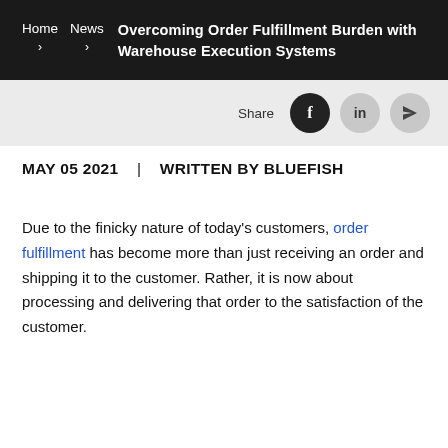Home > News > Overcoming Order Fulfillment Burden with Warehouse Execution Systems
Share [social icons: Facebook, LinkedIn, Send]
MAY 05 2021  |  WRITTEN BY BLUEFISH
Due to the finicky nature of today's customers, order fulfillment has become more than just receiving an order and shipping it to the customer. Rather, it is now about processing and delivering that order to the satisfaction of the customer.